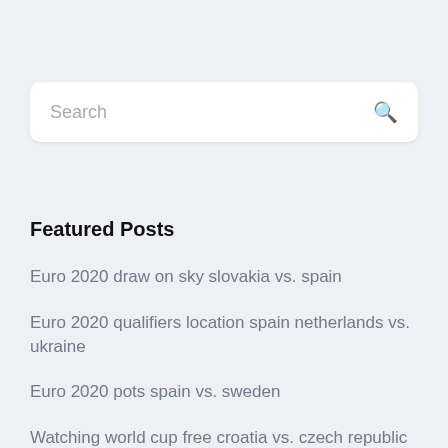[Figure (screenshot): Search input box with placeholder text 'Search' and a magnifying glass icon on the right]
Featured Posts
Euro 2020 draw on sky slovakia vs. spain
Euro 2020 qualifiers location spain netherlands vs. ukraine
Euro 2020 pots spain vs. sweden
Watching world cup free croatia vs. czech republic
Euro sports tv spain vs. sweden
Euro 2020 qualifiers ...